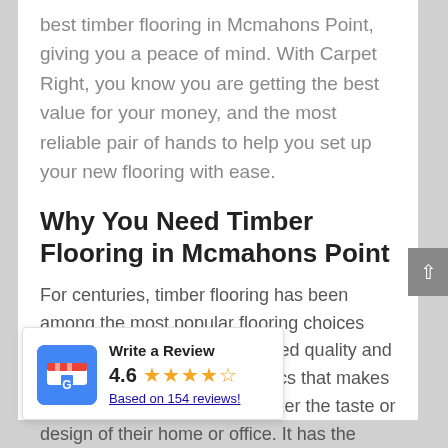best timber flooring in Mcmahons Point, giving you a peace of mind. With Carpet Right, you know you are getting the best value for your money, and the most reliable pair of hands to help you set up your new flooring with ease.
Why You Need Timber Flooring in Mcmahons Point
For centuries, timber flooring has been among the most popular flooring choices around the world. It's undisputed quality and versatility are the characteristics that makes it everyones' favourite, no matter the taste or design of their home or office. It has the power to elevate any [iss, all while [iture and [already chosen
[Figure (other): Google review widget showing 'Write a Review', rating 4.6 stars, based on 154 reviews, with Google Maps store icon]